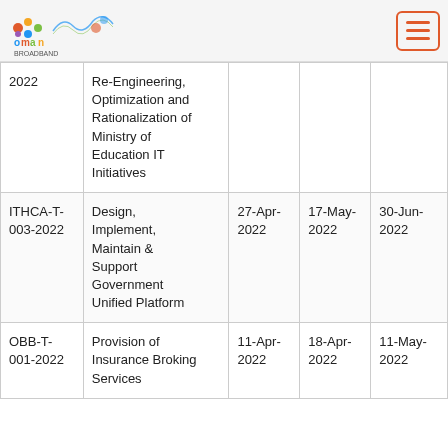Oman Broadband logo and navigation menu
| ID | Description | Date 1 | Date 2 | Date 3 |
| --- | --- | --- | --- | --- |
| 2022 | Re-Engineering, Optimization and Rationalization of Ministry of Education IT Initiatives |  |  |  |
| ITHCA-T-003-2022 | Design, Implement, Maintain & Support Government Unified Platform | 27-Apr-2022 | 17-May-2022 | 30-Jun-2022 |
| OBB-T-001-2022 | Provision of Insurance Broking Services | 11-Apr-2022 | 18-Apr-2022 | 11-May-2022 |